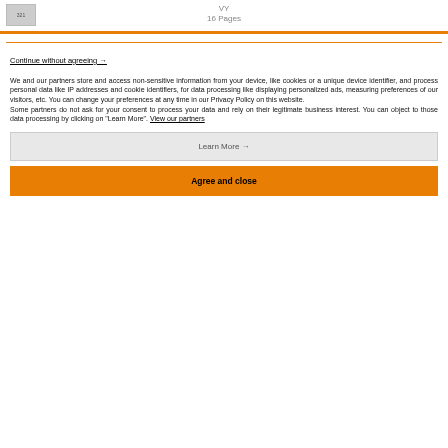VY
16 Pages
Continue without agreeing →
We and our partners store and access non-sensitive information from your device, like cookies or a unique device identifier, and process personal data like IP addresses and cookie identifiers, for data processing like displaying personalized ads, measuring preferences of our visitors, etc. You can change your preferences at any time in our Privacy Policy on this website.
Some partners do not ask for your consent to process your data and rely on their legitimate business interest. You can object to those data processing by clicking on "Learn More". View our partners
Learn More →
Agree and close